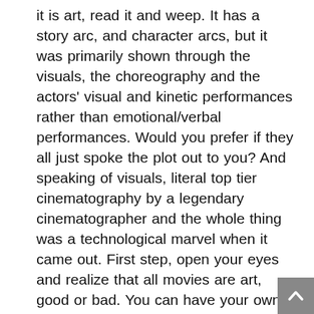it is art, read it and weep. It has a story arc, and character arcs, but it was primarily shown through the visuals, the choreography and the actors' visual and kinetic performances rather than emotional/verbal performances. Would you prefer if they all just spoke the plot out to you? And speaking of visuals, literal top tier cinematography by a legendary cinematographer and the whole thing was a technological marvel when it came out. First step, open your eyes and realize that all movies are art, good or bad. You can have your own opinion but you cannot at the same time try to definitively discredit valid achievements and skill in any artistic medium, it's anti-art. but that's something